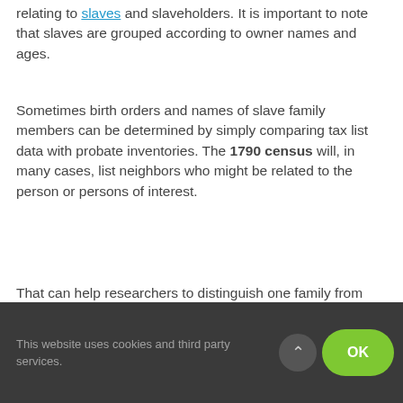relating to slaves and slaveholders. It is important to note that slaves are grouped according to owner names and ages.
Sometimes birth orders and names of slave family members can be determined by simply comparing tax list data with probate inventories. The 1790 census will, in many cases, list neighbors who might be related to the person or persons of interest.
That can help researchers to distinguish one family from another, even if the two families have the same name.
Interpreting the 1790...
This website uses cookies and third party services.